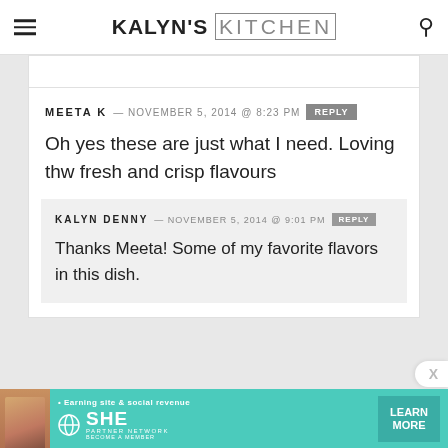KALYN'S KITCHEN
MEETA K — NOVEMBER 5, 2014 @ 8:23 PM [REPLY]
Oh yes these are just what I need. Loving thw fresh and crisp flavours
KALYN DENNY — NOVEMBER 5, 2014 @ 9:01 PM [REPLY]
Thanks Meeta! Some of my favorite flavors in this dish.
[Figure (infographic): SHE Partner Network advertisement banner: Earning site & social revenue, LEARN MORE button]